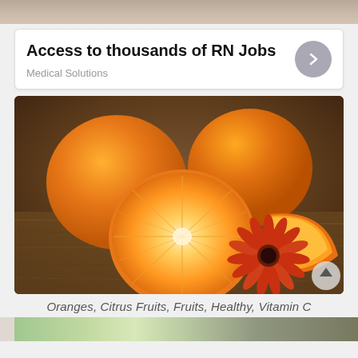[Figure (photo): Top strip photo showing partial background scene]
Access to thousands of RN Jobs
Medical Solutions
[Figure (photo): Photo of oranges, a halved orange, an orange slice, and a red/orange gerbera daisy flower arranged on a wooden surface]
Oranges, Citrus Fruits, Fruits, Healthy, Vitamin C
[Figure (photo): Bottom strip showing partial photo of another food/nature scene]